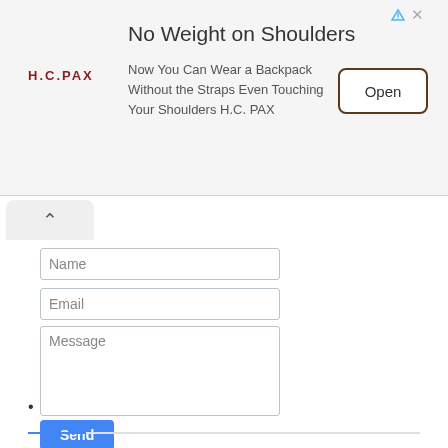[Figure (screenshot): Advertisement banner for H.C. PAX backpack product. Logo on left reads H.C.PAX in dark red. Title: 'No Weight on Shoulders'. Body: 'Now You Can Wear a Backpack Without the Straps Even Touching Your Shoulders H.C. PAX'. Open button on right.]
Name
Email
Message
Send
•